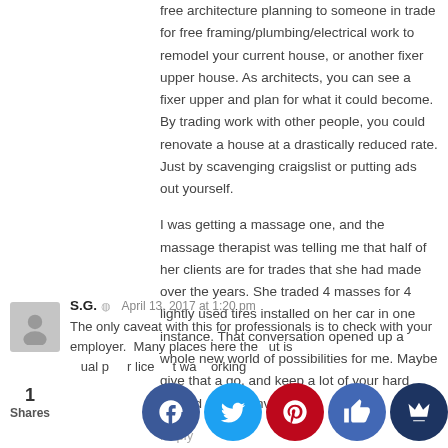free architecture planning to someone in trade for free framing/plumbing/electrical work to remodel your current house, or another fixer upper house. As architects, you can see a fixer upper and plan for what it could become. By trading work with other people, you could renovate a house at a drastically reduced rate. Just by scavenging craigslist or putting ads out yourself.
I was getting a massage one, and the massage therapist was telling me that half of her clients are for trades that she had made over the years. She traded 4 masses for 4 lightly used tires installed on her car in one instance. That conversation opened up a whole new world of possibilities for me. Maybe give that a go, and keep a lot of your hard earned cash to invest.
Reply
S.G. April 13, 2017 at 1:20 pm
The only caveat with this for professionals is to check with your employer. Many places where the output is intellectual property or licensed don't want you working outside the company. Many are fine with it. Equity would say